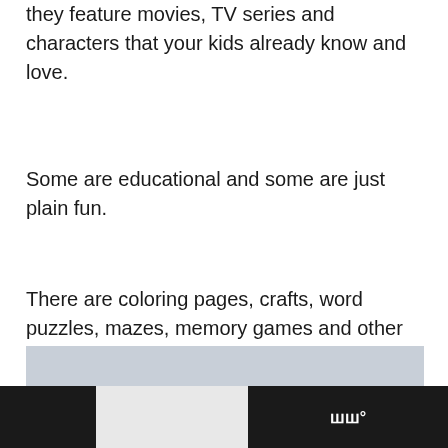they feature movies, TV series and characters that your kids already know and love.
Some are educational and some are just plain fun.
There are coloring pages, crafts, word puzzles, mazes, memory games and other family friendly activities.
[Figure (photo): Children viewed from behind looking at a mountain landscape with a coastal or ancient site below]